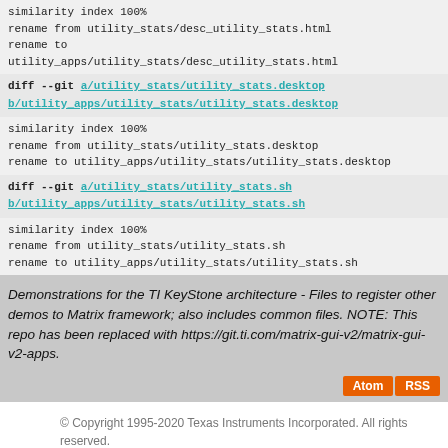similarity index 100%
rename from utility_stats/desc_utility_stats.html
rename to
utility_apps/utility_stats/desc_utility_stats.html
diff --git a/utility_stats/utility_stats.desktop b/utility_apps/utility_stats/utility_stats.desktop
similarity index 100%
rename from utility_stats/utility_stats.desktop
rename to utility_apps/utility_stats/utility_stats.desktop
diff --git a/utility_stats/utility_stats.sh b/utility_apps/utility_stats/utility_stats.sh
similarity index 100%
rename from utility_stats/utility_stats.sh
rename to utility_apps/utility_stats/utility_stats.sh
Demonstrations for the TI KeyStone architecture - Files to register other demos to Matrix framework; also includes common files. NOTE: This repo has been replaced with https://git.ti.com/matrix-gui-v2/matrix-gui-v2-apps.
Atom RSS
© Copyright 1995-2020 Texas Instruments Incorporated. All rights reserved.
Trademarks | Privacy policy | Terms of use | Terms of sale